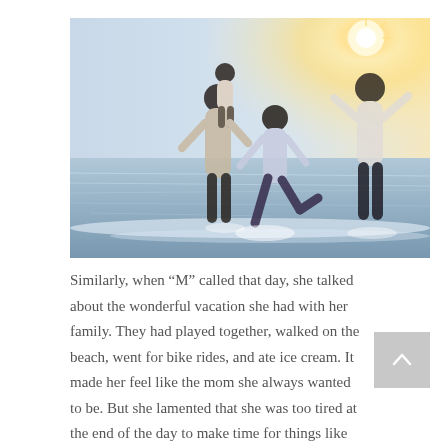[Figure (photo): A family playing at the beach in backlit sunlight. A child is riding on an adult's back, another child runs toward the water, and a third figure dances in the surf. Bright sun flare in the upper right.]
Similarly, when “M” called that day, she talked about the wonderful vacation she had with her family. They had played together, walked on the beach, went for bike rides, and ate ice cream. It made her feel like the mom she always wanted to be. But she lamented that she was too tired at the end of the day to make time for things like that on a regular basis.